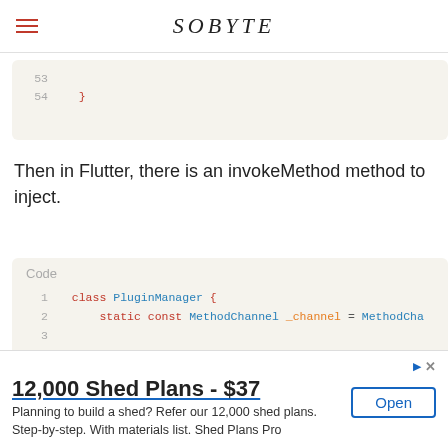SOBYTE
[Figure (screenshot): Code snippet showing lines 53-54 with closing brace in Dart/Flutter]
Then in Flutter, there is an invokeMethod method to inject.
[Figure (screenshot): Code block labeled 'Code' showing PluginManager class with static MethodChannel _channel and showTab method using invokeMethod]
12,000 Shed Plans - $37 Planning to build a shed? Refer our 12,000 shed plans. Step-by-step. With materials list. Shed Plans Pro